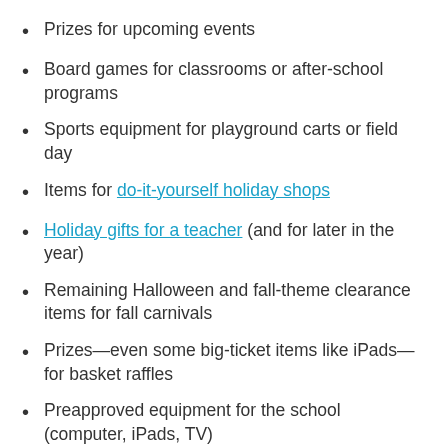Prizes for upcoming events
Board games for classrooms or after-school programs
Sports equipment for playground carts or field day
Items for do-it-yourself holiday shops
Holiday gifts for a teacher (and for later in the year)
Remaining Halloween and fall-theme clearance items for fall carnivals
Prizes—even some big-ticket items like iPads—for basket raffles
Preapproved equipment for the school (computer, iPads, TV)
Toys and other items to donate for a collection, children's hospital, or a “giving tree” at the school
Children’s clothing items (socks, undershirts, underwear, etc.) for the school nurse to keep for